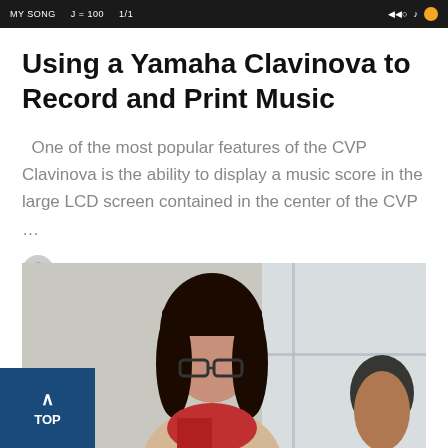MY SONG  J=100  1/1  ◀◀○  ♪  ⚙
Using a Yamaha Clavinova to Record and Print Music
One of the most popular features of the CVP Clavinova is the ability to display a music score in the large LCD screen contained in the center of the CVP …
by 7 notes
[Figure (photo): A woman with short dark hair and glasses wearing a beige sweater and red scarf, with a young child partially visible to her right, in a bright room setting.]